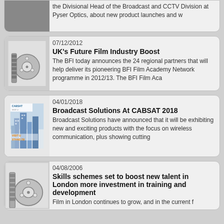the Divisional Head of the Broadcast and CCTV Division at Pyser Optics, about new product launches and w
07/12/2012
UK's Future Film Industry Boost
The BFI today announces the 24 regional partners that will help deliver its pioneering BFI Film Academy Network programme in 2012/13. The BFI Film Aca
04/01/2018
Broadcast Solutions At CABSAT 2018
Broadcast Solutions have announced that it will be exhibiting new and exciting products with the focus on wireless communication, plus showing cutting
04/08/2006
Skills schemes set to boost new talent in London more investment in training and development
Film in London continues to grow, and in the current f